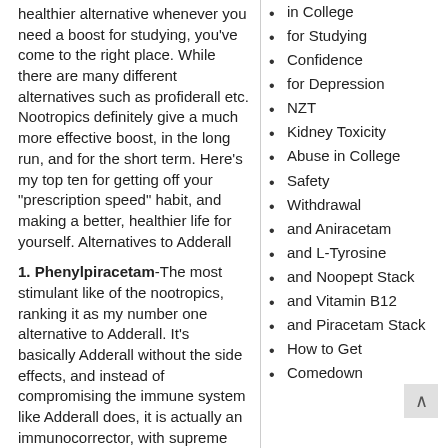healthier alternative whenever you need a boost for studying, you’ve come to the right place. While there are many different alternatives such as profiderall etc. Nootropics definitely give a much more effective boost, in the long run, and for the short term. Here’s my top ten for getting off your “prescription speed” habit, and making a better, healthier life for yourself. Alternatives to Adderall
1. Phenylpiracetam-The most stimulant like of the nootropics, ranking it as my number one alternative to Adderall. It’s basically Adderall without the side effects, and instead of compromising the immune system like Adderall does, it is actually an immunocorrector, with supreme benefits on your mental and
for Studying
Confidence
for Depression
NZT
Kidney Toxicity
Abuse in College
Safety
Withdrawal
and Aniracetam
and L-Tyrosine
and Noopept Stack
and Vitamin B12
and Piracetam Stack
How to Get
Comedown